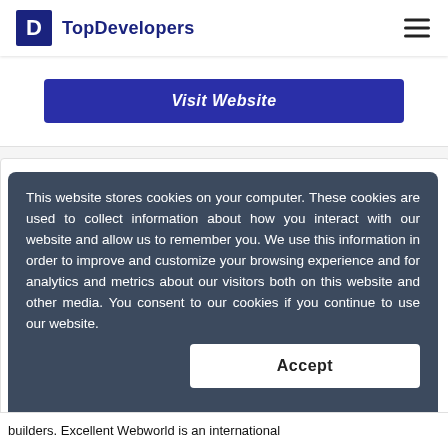TopDevelopers
Visit Website
This website stores cookies on your computer. These cookies are used to collect information about how you interact with our website and allow us to remember you. We use this information in order to improve and customize your browsing experience and for analytics and metrics about our visitors both on this website and other media. You consent to our cookies if you continue to use our website.
Accept
builders. Excellent Webworld is an international